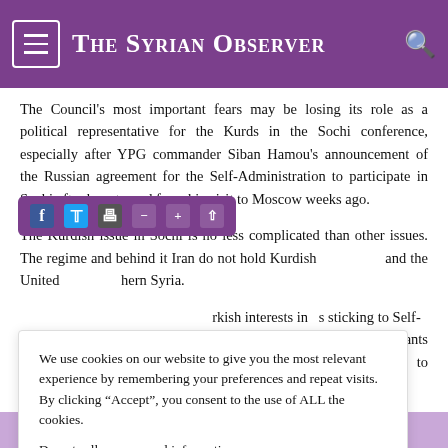The Syrian Observer
The Council's most important fears may be losing its role as a political representative for the Kurds in the Sochi conference, especially after YPG commander Siban Hamou's announcement of the Russian agreement for the Self-Administration to participate in Sochi after he returned from his visit to Moscow weeks ago.
The Kurdish issue in Sochi is no less complicated than other issues. The regime and behind it Iran do not hold Kurdish and the United hern Syria. rkish interests in s sticking to Self- onference, which impose its allies n political figures, who it wants to
We use cookies on our website to give you the most relevant experience by remembering your preferences and repeat visits. By clicking “Accept”, you consent to the use of ALL the cookies. Do not sell my personal information.
Advisor to the joint presidency of the PYD, Sihanouk Dibo,